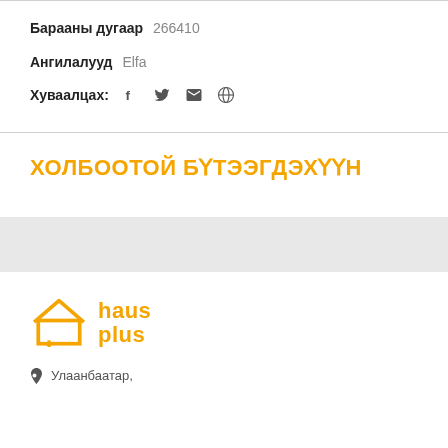Барааны дугаар 266410
Ангилалууд  Elfa
Хуваалцах:  f  y  ✉  ⊕
ХОЛБООТОЙ БҮТЭЭГДЭХҮҮН
[Figure (logo): haus plus logo - orange house icon with plus sign and text 'haus plus' in orange]
Улаанбаатар,